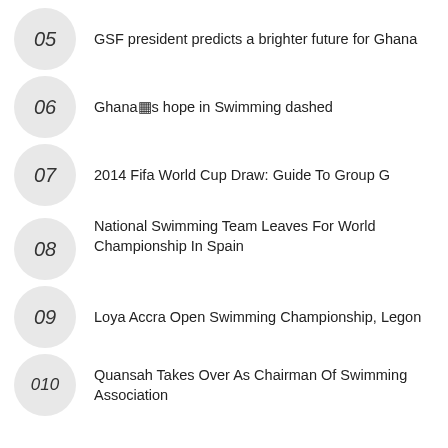05 GSF president predicts a brighter future for Ghana
06 Ghana�s hope in Swimming dashed
07 2014 Fifa World Cup Draw: Guide To Group G
08 National Swimming Team Leaves For World Championship In Spain
09 Loya Accra Open Swimming Championship, Legon
010 Quansah Takes Over As Chairman Of Swimming Association